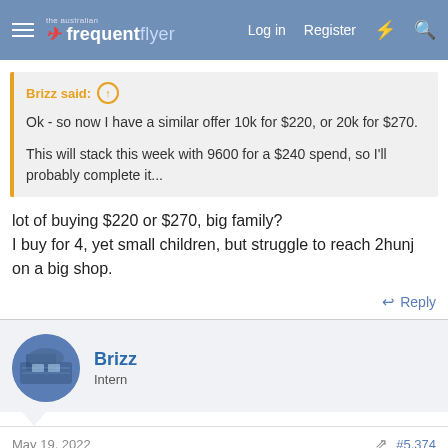The Australian Frequent Flyer — Log in  Register
Brizz said: ↑
Ok - so now I have a similar offer 10k for $220, or 20k for $270.
This will stack this week with 9600 for a $240 spend, so I'll probably complete it...
lot of buying $220 or $270, big family?
I buy for 4, yet small children, but struggle to reach 2hunj on a big shop.
↩ Reply
Brizz
Intern
May 19, 2022  #5,374
MooTime said: ↑